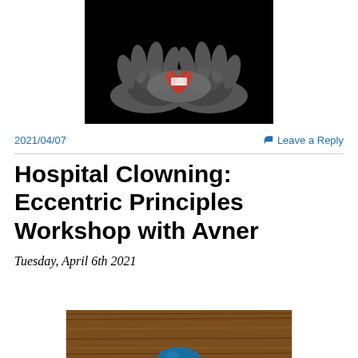[Figure (photo): Black and white photo of two hands cupping a small red heart-shaped object with a white label]
2021/04/07
Leave a Reply
Hospital Clowning: Eccentric Principles Workshop with Avner
Tuesday, April 6th 2021
[Figure (photo): Partial photo showing a wooden surface and the top of a person's head]